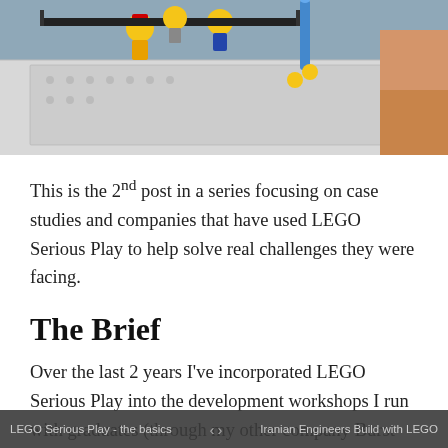[Figure (photo): Close-up photograph of LEGO minifigures and colorful LEGO brick constructions, including blue and yellow elements, set against a background of white LEGO base plates.]
This is the 2nd post in a series focusing on case studies and companies that have used LEGO Serious Play to help solve real challenges they were facing.
The Brief
Over the last 2 years I've incorporated LEGO Serious Play into the development workshops I run with graduates (through my other company Burst Development). Burst specialises in helping companies fast track their graduates develop...
LEGO Serious Play - the basics   ‹  ›   Iranian Engineers Build with LEGO